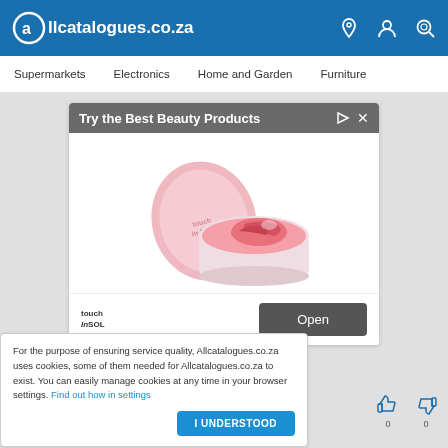Allcatalogues.co.za
Supermarkets   Electronics   Home and Garden   Furniture
[Figure (screenshot): Advertisement banner showing 'Try the Best Beauty Products' with a pink lip balm/cream jar (Touch In SOL brand) and an Open button]
For the purpose of ensuring service quality, Allcatalogues.co.za uses cookies, some of them needed for Allcatalogues.co.za to exist. You can easily manage cookies at any time in your browser settings. Find out how in settings
I UNDERSTOOD